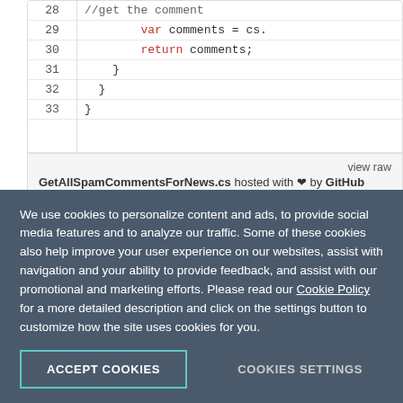[Figure (screenshot): Code snippet showing lines 28-33 of GetAllSpamCommentsForNews.cs with syntax highlighting. Line 28: //get the comment, Line 29: var comments = cs., Line 30: return comments;, Line 31: }, Line 32: }, Line 33: }]
view raw GetAllSpamCommentsForNews.cs hosted with ♥ by GitHub
We use cookies to personalize content and ads, to provide social media features and to analyze our traffic. Some of these cookies also help improve your user experience on our websites, assist with navigation and your ability to provide feedback, and assist with our promotional and marketing efforts. Please read our Cookie Policy for a more detailed description and click on the settings button to customize how the site uses cookies for you.
ACCEPT COOKIES
COOKIES SETTINGS